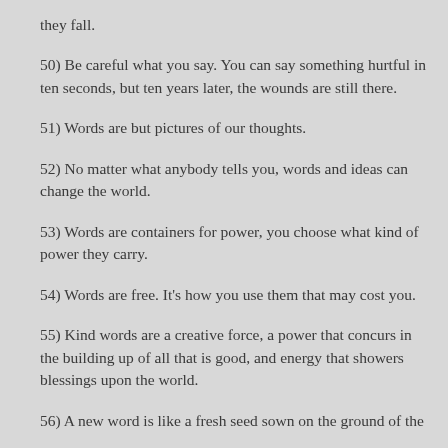they fall.
50) Be careful what you say. You can say something hurtful in ten seconds, but ten years later, the wounds are still there.
51) Words are but pictures of our thoughts.
52) No matter what anybody tells you, words and ideas can change the world.
53) Words are containers for power, you choose what kind of power they carry.
54) Words are free. It's how you use them that may cost you.
55) Kind words are a creative force, a power that concurs in the building up of all that is good, and energy that showers blessings upon the world.
56) A new word is like a fresh seed sown on the ground of the